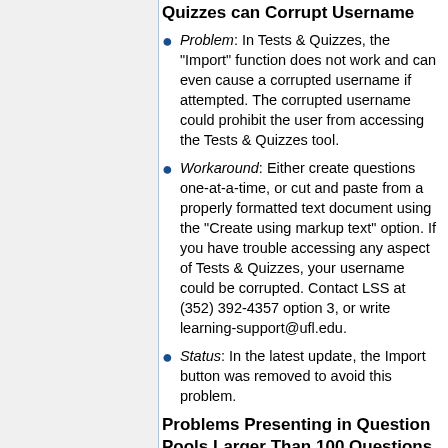Quizzes can Corrupt Username
Problem: In Tests & Quizzes, the "Import" function does not work and can even cause a corrupted username if attempted. The corrupted username could prohibit the user from accessing the Tests & Quizzes tool.
Workaround: Either create questions one-at-a-time, or cut and paste from a properly formatted text document using the "Create using markup text" option. If you have trouble accessing any aspect of Tests & Quizzes, your username could be corrupted. Contact LSS at (352) 392-4357 option 3, or write learning-support@ufl.edu.
Status: In the latest update, the Import button was removed to avoid this problem.
Problems Presenting in Question Pools Larger Than 100 Questions